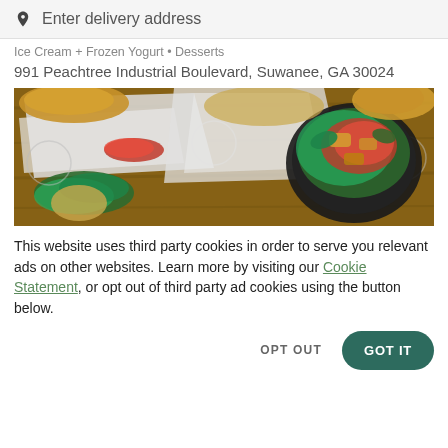Enter delivery address
Ice Cream + Frozen Yogurt • Desserts
991 Peachtree Industrial Boulevard, Suwanee, GA 30024
[Figure (photo): Overhead view of food items on a wooden table including sandwiches wrapped in paper, a bowl with salad and toppings, kale, and various wrapped items with logo stamps.]
This website uses third party cookies in order to serve you relevant ads on other websites. Learn more by visiting our Cookie Statement, or opt out of third party ad cookies using the button below.
OPT OUT
GOT IT